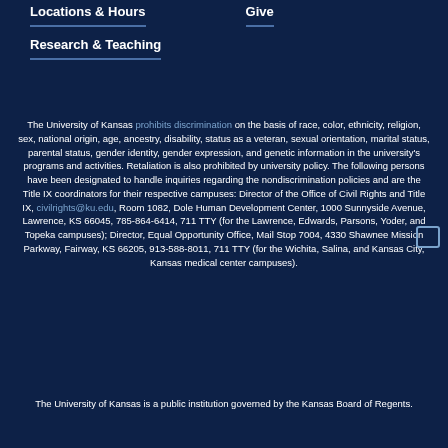Locations & Hours
Give
Research & Teaching
The University of Kansas prohibits discrimination on the basis of race, color, ethnicity, religion, sex, national origin, age, ancestry, disability, status as a veteran, sexual orientation, marital status, parental status, gender identity, gender expression, and genetic information in the university's programs and activities. Retaliation is also prohibited by university policy. The following persons have been designated to handle inquiries regarding the nondiscrimination policies and are the Title IX coordinators for their respective campuses: Director of the Office of Civil Rights and Title IX, civilrights@ku.edu, Room 1082, Dole Human Development Center, 1000 Sunnyside Avenue, Lawrence, KS 66045, 785-864-6414, 711 TTY (for the Lawrence, Edwards, Parsons, Yoder, and Topeka campuses); Director, Equal Opportunity Office, Mail Stop 7004, 4330 Shawnee Mission Parkway, Fairway, KS 66205, 913-588-8011, 711 TTY (for the Wichita, Salina, and Kansas City, Kansas medical center campuses).
The University of Kansas is a public institution governed by the Kansas Board of Regents.